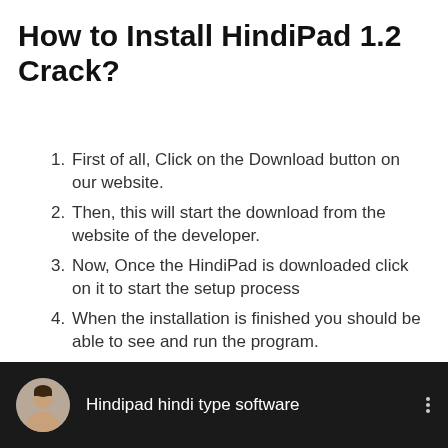How to Install HindiPad 1.2 Crack?
First of all, Click on the Download button on our website.
Then, this will start the download from the website of the developer.
Now, Once the HindiPad is downloaded click on it to start the setup process
When the installation is finished you should be able to see and run the program.
Finally, Enjoy the latest version of the software.
[Figure (screenshot): Dark-themed video thumbnail/card showing a circular avatar of a person and the text 'Hindipad hindi type software' with a three-dot menu icon on the right.]